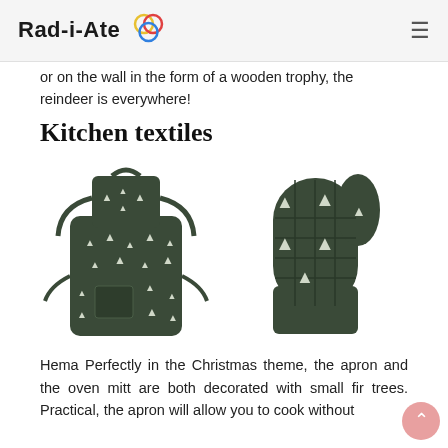Rad-i-Ate
or on the wall in the form of a wooden trophy, the reindeer is everywhere!
Kitchen textiles
[Figure (photo): Dark green apron decorated with small white fir trees pattern, and a matching dark green quilted oven mitt also decorated with white fir trees, both from Hema.]
Hema Perfectly in the Christmas theme, the apron and the oven mitt are both decorated with small fir trees. Practical, the apron will allow you to cook without